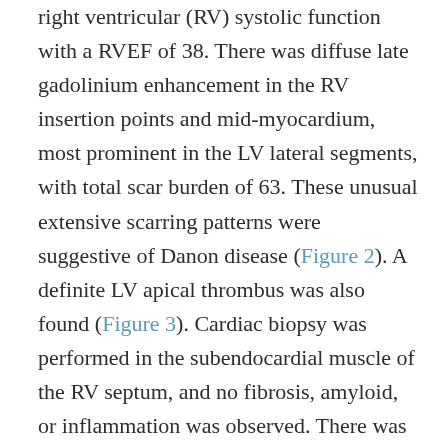right ventricular (RV) systolic function with a RVEF of 38. There was diffuse late gadolinium enhancement in the RV insertion points and mid-myocardium, most prominent in the LV lateral segments, with total scar burden of 63. These unusual extensive scarring patterns were suggestive of Danon disease (Figure 2). A definite LV apical thrombus was also found (Figure 3). Cardiac biopsy was performed in the subendocardial muscle of the RV septum, and no fibrosis, amyloid, or inflammation was observed. There was mild focal architectural disarray. The cardiomyocytes were hypertrophic, with enlarged and irregular nuclei and vacuolated cytoplasm (Figure 4A). Ultrastructural examination showed numerous vacuoles containing degenerating mitochondria, glycogen, small vesicles